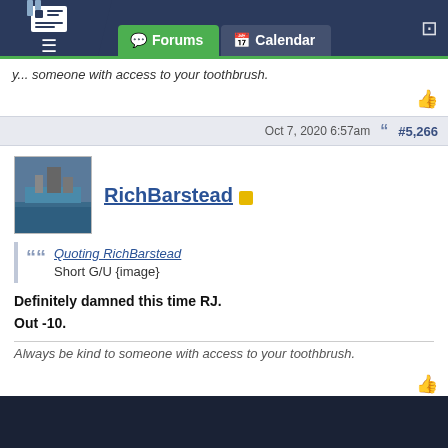Forums | Calendar
...someone with access to your toothbrush.
Oct 7, 2020 6:57am  #5,266
RichBarstead
Quoting RichBarstead
Short G/U {image}
Definitely damned this time RJ.
Out -10.
Always be kind to someone with access to your toothbrush.
Oct 7, 2020 7:00am  #5,267
1  ←  Page 264  →  399